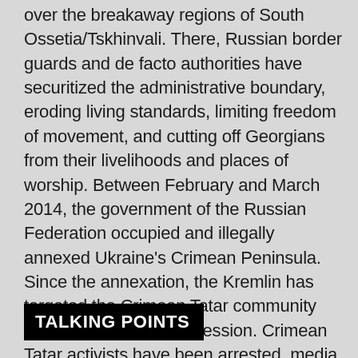over the breakaway regions of South Ossetia/Tskhinvali. There, Russian border guards and de facto authorities have securitized the administrative boundary, eroding living standards, limiting freedom of movement, and cutting off Georgians from their livelihoods and places of worship. Between February and March 2014, the government of the Russian Federation occupied and illegally annexed Ukraine's Crimean Peninsula. Since the annexation, the Kremlin has targeted the Crimean Tatar community with a campaign of repression. Crimean Tatar activists have been arrested, media outlets shuttered, and elected representative bodies disbanded.
TALKING POINTS